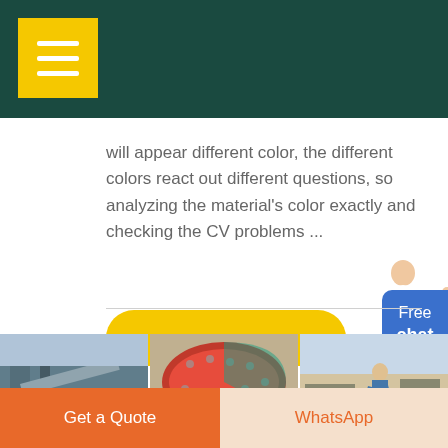[Figure (screenshot): Dark teal navigation header bar with yellow hamburger menu button in top-left corner]
will appear different color, the different colors react out different questions, so analyzing the material's color exactly and checking the CV problems ...
GET PRICE
[Figure (illustration): Blue rounded rectangle chat widget showing 'Free chat' with a female avatar figure beside it]
[Figure (photo): Three industrial/mining site photographs side by side: conveyor structure, large rotating drum/cylinder, and worker at excavation site]
Get a Quote
WhatsApp